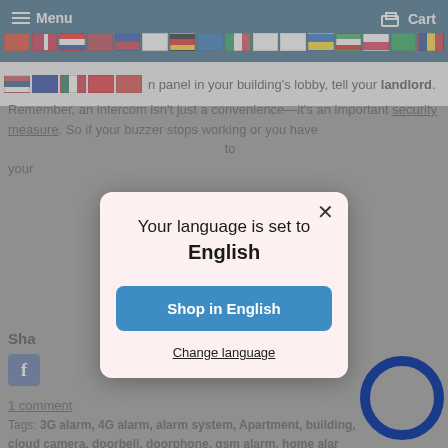Menu   Cart
[Figure (screenshot): Navigation bar with hamburger menu icon labeled Menu on left, Cart icon on right, two rows of country flag icons below]
panel in your building's lobby, tell your landlord. Remember, an intercom isn't just a convenience—it's an important security measure. So if your buzzer stops working or you have to your
[Figure (screenshot): Modal dialog with light pink background. Title: 'Your language is set to English'. Blue button: 'Shop in English'. Underlined link: 'Change language'. Close X button at top right.]
Sha
1 comment
Tags: 3G alarm, 4G alarm, alarm system, Apartment, building, cloud camera, doorbell, doorphone, gsm alarm, home alarm, security, secure, security, video doorphone, wifi alarm, wifi